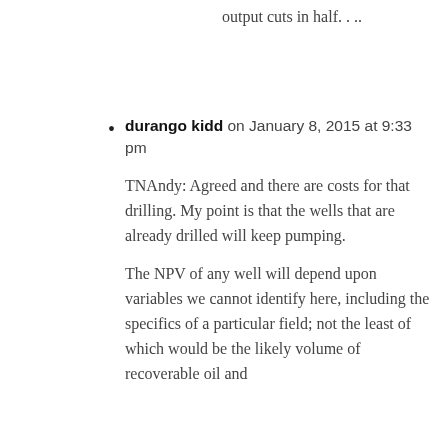output cuts in half. . ..
durango kidd on January 8, 2015 at 9:33 pm

TNAndy: Agreed and there are costs for that drilling. My point is that the wells that are already drilled will keep pumping.

The NPV of any well will depend upon variables we cannot identify here, including the specifics of a particular field; not the least of which would be the likely volume of recoverable oil and